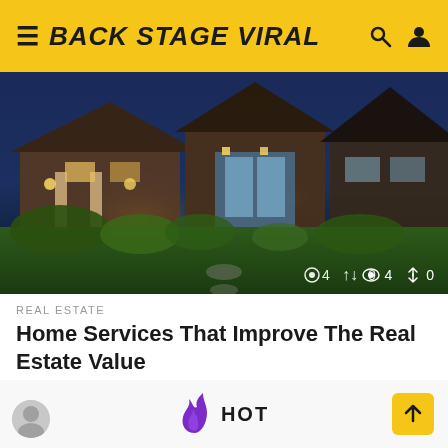≡ BACK STAGE VIRAL
[Figure (photo): Nighttime exterior photo of a modern house with warm lighting, lush green landscaping, and a stone pathway. Stats overlay shows eye icon with 4 views and share icon with 0 shares.]
REAL ESTATE
Home Services That Improve The Real Estate Value
by Jeetendra Maurya
HOT